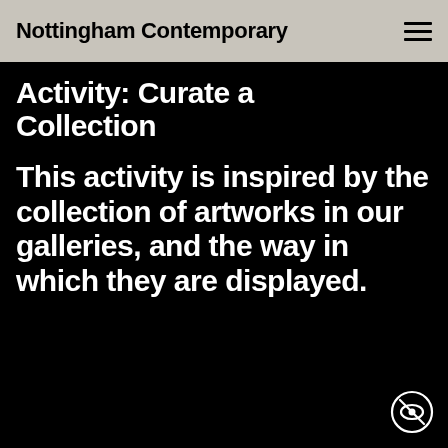Nottingham Contemporary
Activity: Curate a Collection
This activity is inspired by the collection of artworks in our galleries, and the way in which they are displayed.